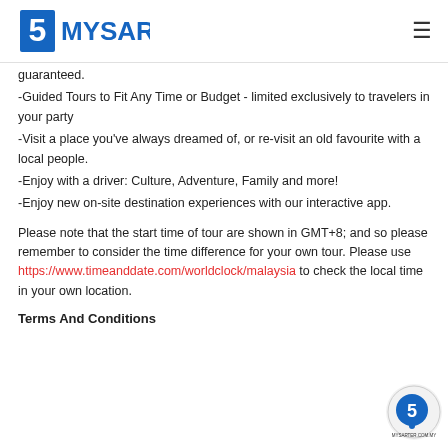MYSARTER
guaranteed.
-Guided Tours to Fit Any Time or Budget - limited exclusively to travelers in your party
-Visit a place you've always dreamed of, or re-visit an old favourite with a local people.
-Enjoy with a driver: Culture, Adventure, Family and more!
-Enjoy new on-site destination experiences with our interactive app.
Please note that the start time of tour are shown in GMT+8; and so please remember to consider the time difference for your own tour. Please use https://www.timeanddate.com/worldclock/malaysia to check the local time in your own location.
Terms And Conditions